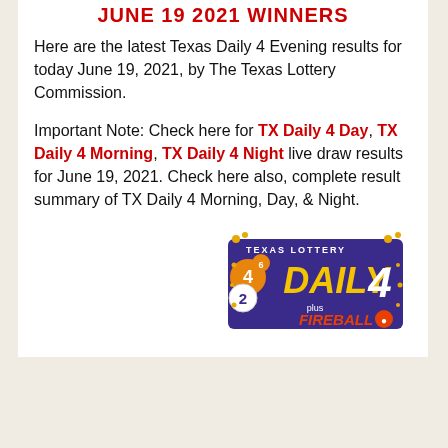JUNE 19 2021 WINNERS
Here are the latest Texas Daily 4 Evening results for today June 19, 2021, by The Texas Lottery Commission.
Important Note: Check here for TX Daily 4 Day, TX Daily 4 Morning, TX Daily 4 Night live draw results for June 19, 2021. Check here also, complete result summary of TX Daily 4 Morning, Day, & Night.
[Figure (logo): Texas Lottery Daily 4 plus Fireball logo — purple and gold design with numbered balls and the text TEXAS LOTTERY DAILY 4 plus FIREBALL]